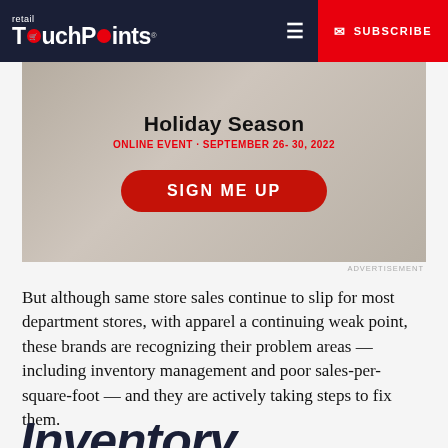retail TouchPoints® ☰ SUBSCRIBE
[Figure (infographic): Advertisement banner for a Holiday Season online event. Text reads: Holiday Season, ONLINE EVENT · SEPTEMBER 26–30, 2022, with a red 'SIGN ME UP' call-to-action button. Background shows a blurred photo of a person in a car.]
ADVERTISEMENT
But although same store sales continue to slip for most department stores, with apparel a continuing weak point, these brands are recognizing their problem areas — including inventory management and poor sales-per-square-foot — and they are actively taking steps to fix them.
Inventory